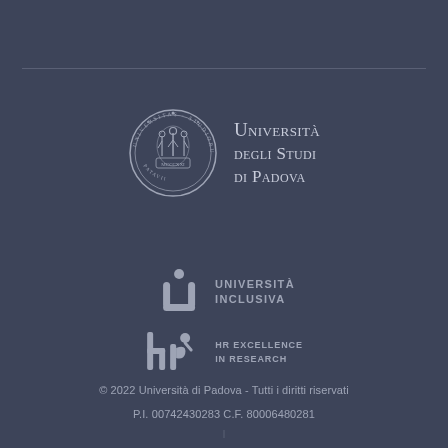[Figure (logo): Università degli Studi di Padova seal/crest logo with Latin text around circular border and figures in center, accompanied by text 'Università degli Studi di Padova']
[Figure (logo): Università Inclusiva logo - stylized 'U' with person figure and text 'UNIVERSITÀ INCLUSIVA']
[Figure (logo): HR Excellence in Research logo with stylized 'hr' letters and person figure, text 'HR EXCELLENCE IN RESEARCH']
© 2022 Università di Padova - Tutti i diritti riservati
P.I. 00742430283 C.F. 80006480281